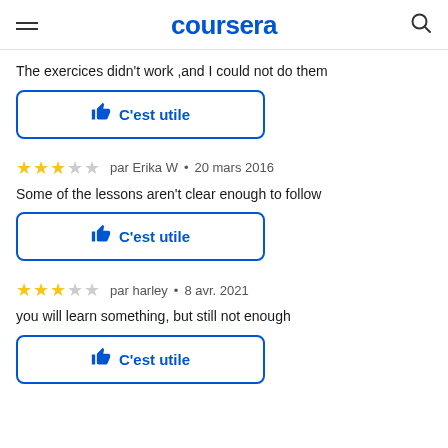coursera
The exercices didn't work ,and I could not do them
C'est utile
par Erika W • 20 mars 2016
Some of the lessons aren't clear enough to follow
C'est utile
par harley • 8 avr. 2021
you will learn something, but still not enough
C'est utile